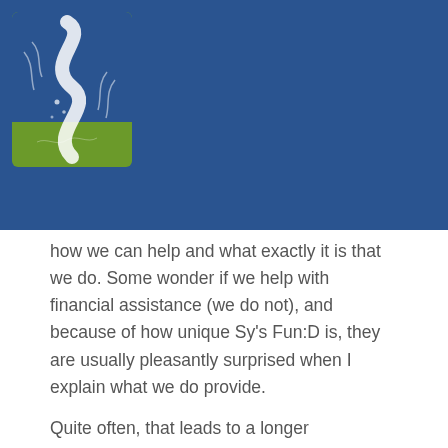[Figure (logo): Logo with an 'S' shaped river/stream on a green and blue background card]
how we can help and what exactly it is that we do. Some wonder if we help with financial assistance (we do not), and because of how unique Sy's Fun:D is, they are usually pleasantly surprised when I explain what we do provide.
Quite often, that leads to a longer conversation